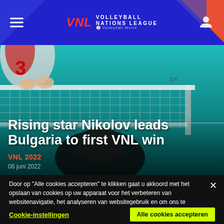Volleyball Nations League
[Figure (photo): Volleyball players at the net, overhead view, one player in white and red jersey, another player below in dark shirt, teal court background with volleyball net visible]
Rising star Nikolov leads Bulgaria to first VNL win
VNL 2022
Door op "Alle cookies accepteren" te klikken gaat u akkoord met het opslaan van cookies op uw apparaat voor het verbeteren van websitenavigatie, het analyseren van websitegebruik en om ons te helpen bij onze marketingprojecten.  Cookie Policy
Cookie-instellingen    Alle cookies accepteren